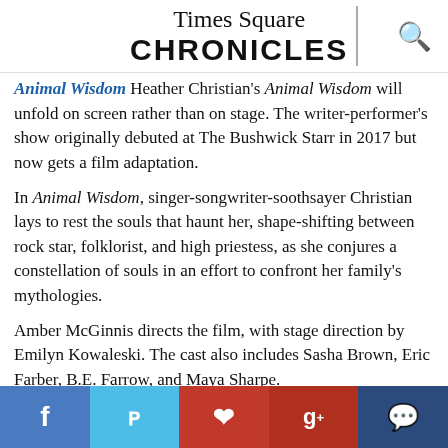Times Square CHRONICLES
Animal Wisdom Heather Christian's Animal Wisdom will unfold on screen rather than on stage. The writer-performer's show originally debuted at The Bushwick Starr in 2017 but now gets a film adaptation.
In Animal Wisdom, singer-songwriter-soothsayer Christian lays to rest the souls that haunt her, shape-shifting between rock star, folklorist, and high priestess, as she conjures a constellation of souls in an effort to confront her family's mythologies.
Amber McGinnis directs the film, with stage direction by Emilyn Kowaleski. The cast also includes Sasha Brown, Eric Farber, B.E. Farrow, and Maya Sharpe.
[Figure (infographic): Social media sharing bar with Facebook, Twitter, Pinterest, Google+, and comment buttons]